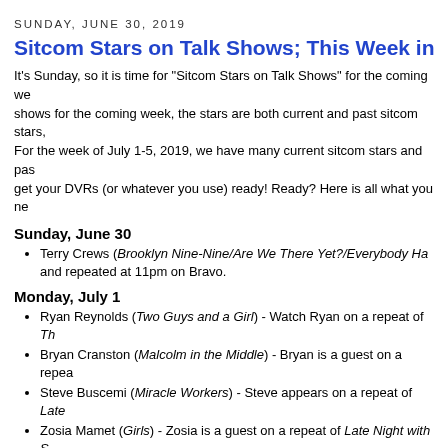SUNDAY, JUNE 30, 2019
Sitcom Stars on Talk Shows; This Week in Sitcoms (W...
It's Sunday, so it is time for "Sitcom Stars on Talk Shows" for the coming we... shows for the coming week, the stars are both current and past sitcom stars,... For the week of July 1-5, 2019, we have many current sitcom stars and pas... get your DVRs (or whatever you use) ready! Ready? Here is all what you ne...
Sunday, June 30
Terry Crews (Brooklyn Nine-Nine/Are We There Yet?/Everybody Ha... and repeated at 11pm on Bravo.
Monday, July 1
Ryan Reynolds (Two Guys and a Girl) - Watch Ryan on a repeat of Th...
Bryan Cranston (Malcolm in the Middle) - Bryan is a guest on a repea...
Steve Buscemi (Miracle Workers) - Steve appears on a repeat of Late...
Zosia Mamet (Girls) - Zosia is a guest on a repeat of Late Night with S...
Christopher Meloni (Surviving Jack/The Boys/The Fanelli Boys) - Chr... Corden at 12:37am on CBS.
Jemima Kirke (Girls) - Jemima is a guest on a repeat of Last Call with...
Avan Jogia (Victorious) - Avan appears on a repeat of Last Call with C...
Dax Shepard (Bless This Mess) - Dax is a guest on a repeat of Conar...
Laura Linney (The Big C) - Laura speaks about the series Tales of the...
Henry Winkler (Barry/Out of Practice/Monty/Happy Days) - Henry is a... local listings.
Vivica A. Fox (Mr. Box Office/Getting Personal/Arsenio/Out All Nigh...